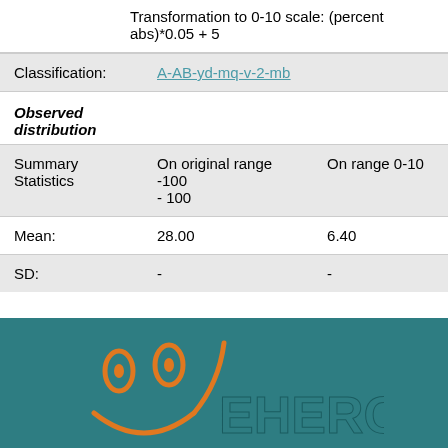Transformation to 0-10 scale: (percent abs)*0.05 + 5
|  |  |  |
| --- | --- | --- |
| Classification: | A-AB-yd-mq-v-2-mb |  |
| Observed distribution |  |  |
| Summary Statistics | On original range -100 - 100 | On range 0-10 |
| Mean: | 28.00 | 6.40 |
| SD: | - | - |
[Figure (logo): EHERO logo with orange smiley face on teal background]